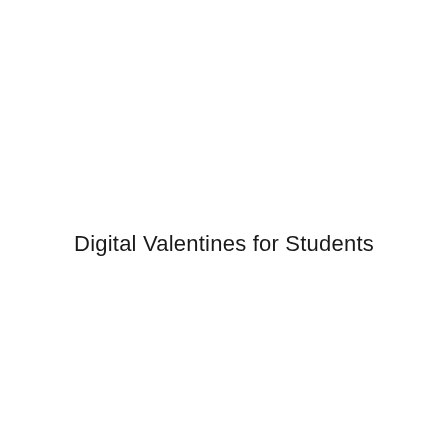Digital Valentines for Students